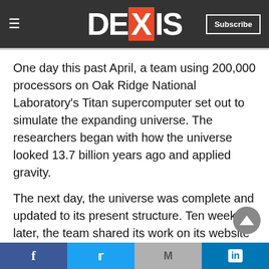DEIXIS
One day this past April, a team using 200,000 processors on Oak Ridge National Laboratory's Titan supercomputer set out to simulate the expanding universe. The researchers began with how the universe looked 13.7 billion years ago and applied gravity.
The next day, the universe was complete and updated to its present structure. Ten weeks later, the team shared its work on its website and published it online via the preprint repository arXiv.
Facebook Twitter Gmail LinkedIn